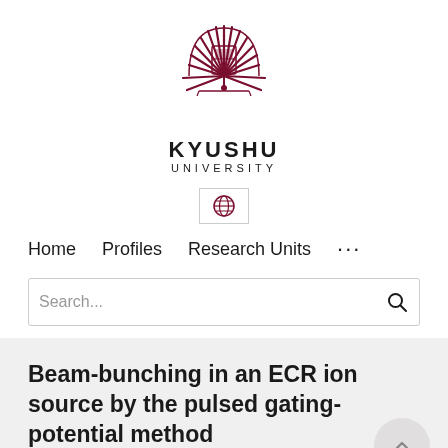[Figure (logo): Kyushu University logo: a stylized sunburst/phoenix emblem in dark red/maroon with a central crest]
KYUSHU
UNIVERSITY
[Figure (other): Globe/language selector icon in a bordered box]
Home   Profiles   Research Units   ...
Search...
Beam-bunching in an ECR ion source by the pulsed gating-potential method